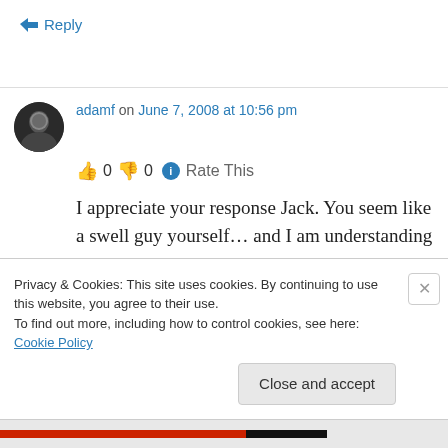↳ Reply
adamf on June 7, 2008 at 10:56 pm
👍 0 👎 0 ℹ Rate This
I appreciate your response Jack. You seem like a swell guy yourself… and I am understanding
Privacy & Cookies: This site uses cookies. By continuing to use this website, you agree to their use.
To find out more, including how to control cookies, see here: Cookie Policy
Close and accept